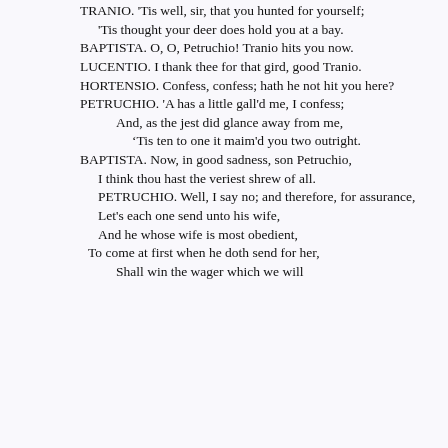TRANIO. 'Tis well, sir, that you hunted for yourself;
    'Tis thought your deer does hold you at a bay.
  BAPTISTA. O, O, Petruchio! Tranio hits you now.
  LUCENTIO. I thank thee for that gird, good Tranio.
  HORTENSIO. Confess, confess; hath he not hit you here?
  PETRUCHIO. 'A has a little gall'd me, I confess;
      And, as the jest did glance away from me,
         'Tis ten to one it maim'd you two outright.
  BAPTISTA. Now, in good sadness, son Petruchio,
      I think thou hast the veriest shrew of all.
      PETRUCHIO. Well, I say no; and therefore, for assurance,
      Let's each one send unto his wife,
      And he whose wife is most obedient,
       To come at first when he doth send for her,
          Shall win the wager which we will